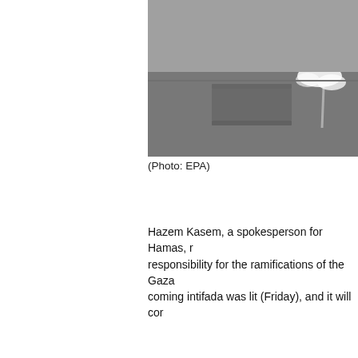[Figure (photo): Aerial or ground-level view of pavement with smoke or tear gas canister visible in upper right area.]
(Photo: EPA)
Hazem Kasem, a spokesperson for Hamas, r... responsibility for the ramifications of the Gaza... coming intifada was lit (Friday), and it will cor...
[Figure (photo): A masked person wearing a black hoodie, cap, and patterned face covering, holding a sling, with another person partially visible to the right.]